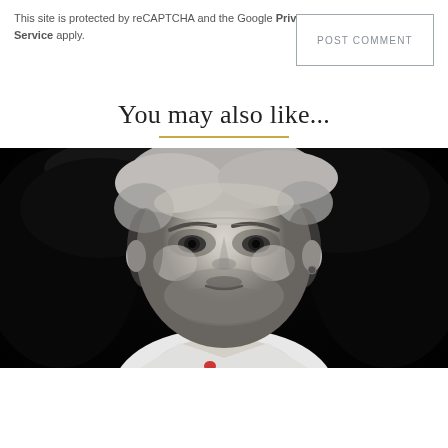This site is protected by reCAPTCHA and the Google Privacy Policy and Terms of Service apply.
POST COMMENT
You may also like...
[Figure (photo): Black and white close-up portrait of an older man with grey hair, stubble beard, wearing an earring, looking directly at camera]